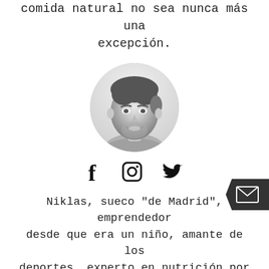comida natural no sea nunca más una excepción.
[Figure (photo): Black and white circular portrait photo of a smiling man with styled hair and beard]
[Figure (infographic): Social media icons: Facebook (f), Instagram (camera), Twitter (bird)]
Niklas, sueco "de Madrid", emprendedor desde que era un niño, amante de los deportes, experto en nutrición por la Universidad de Cádiz, seguidor de la Dieta Paleo y cabeza visible de NiklasPaleo, base de lo que hoy es este